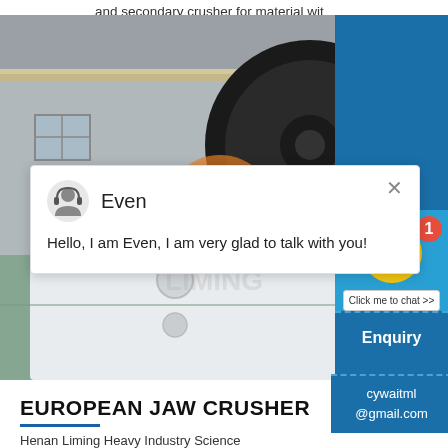and secondary crusher for material wit
[Figure (photo): Industrial jaw crusher machine in a factory setting, with large black flywheel visible and white crusher body, inside a manufacturing facility with overhead crane and blue banner in background]
Even
Hello, I am Even, I am very glad to talk with you!
[Figure (screenshot): Live chat widget in bottom right with smiley face emoji avatar wearing headphones on blue background, with badge showing '1' and 'Click me to chat >>' button]
Enquiry
cywaitml @gmail.com
EUROPEAN JAW CRUSHER
Henan Liming Heavy Industry Science